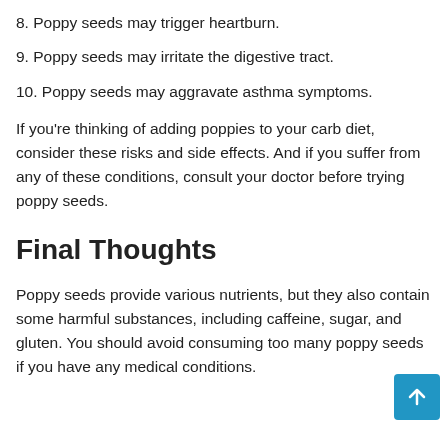8. Poppy seeds may trigger heartburn.
9. Poppy seeds may irritate the digestive tract.
10. Poppy seeds may aggravate asthma symptoms.
If you're thinking of adding poppies to your carb diet, consider these risks and side effects. And if you suffer from any of these conditions, consult your doctor before trying poppy seeds.
Final Thoughts
Poppy seeds provide various nutrients, but they also contain some harmful substances, including caffeine, sugar, and gluten. You should avoid consuming too many poppy seeds if you have any medical conditions.